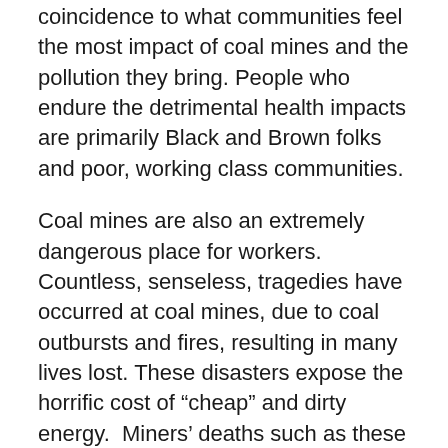coincidence to what communities feel the most impact of coal mines and the pollution they bring. People who endure the detrimental health impacts are primarily Black and Brown folks and poor, working class communities.
Coal mines are also an extremely dangerous place for workers. Countless, senseless, tragedies have occurred at coal mines, due to coal outbursts and fires, resulting in many lives lost. These disasters expose the horrific cost of “cheap” and dirty energy.  Miners’ deaths such as these are preventable. And then there are the long-term impacts. Every year, more than one million people die of air pollution that comes from burning coal. 150,000 more die from extreme weather events aggravated by